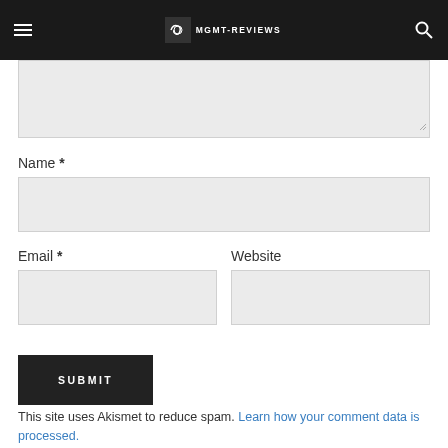MGMT-REVIEWS (site header with hamburger menu and search)
Name *
Email *
Website
SUBMIT
This site uses Akismet to reduce spam. Learn how your comment data is processed.